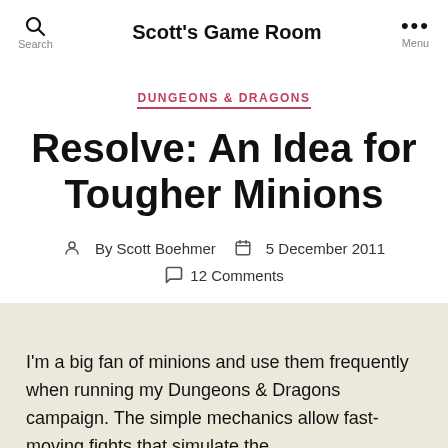Scott's Game Room
DUNGEONS & DRAGONS
Resolve: An Idea for Tougher Minions
By Scott Boehmer   5 December 2011   12 Comments
I'm a big fan of minions and use them frequently when running my Dungeons & Dragons campaign. The simple mechanics allow fast-moving fights that simulate the